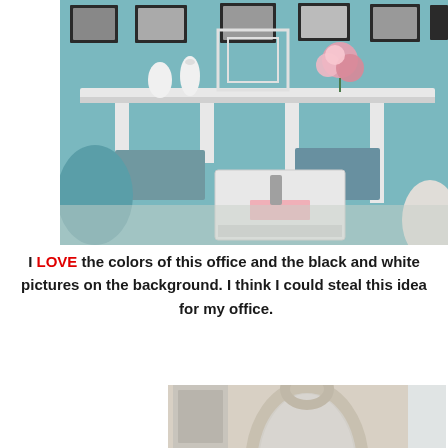[Figure (photo): Interior photo of an elegant home office with a white ornate desk, teal/blue walls, black and white framed pictures on the wall, white vases and pink flowers on the desk, teal upholstered chair, and decorative white tray on the desk surface.]
I LOVE the colors of this office and the black and white pictures on the background. I think I could steal this idea  for my office.
[Figure (photo): Partial photo of a room with a large ornate white/silver framed oval mirror and light-colored walls.]